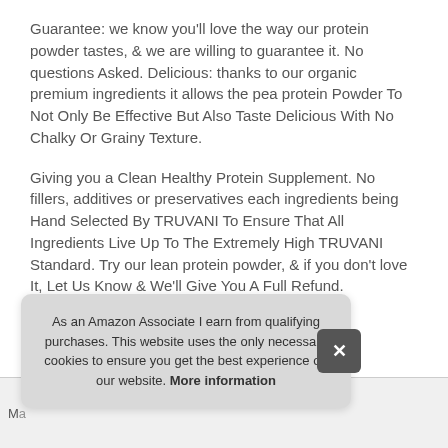Guarantee: we know you'll love the way our protein powder tastes, & we are willing to guarantee it. No questions Asked. Delicious: thanks to our organic premium ingredients it allows the pea protein Powder To Not Only Be Effective But Also Taste Delicious With No Chalky Or Grainy Texture.
Giving you a Clean Healthy Protein Supplement. No fillers, additives or preservatives each ingredients being Hand Selected By TRUVANI To Ensure That All Ingredients Live Up To The Extremely High TRUVANI Standard. Try our lean protein powder, & if you don't love It, Let Us Know & We'll Give You A Full Refund.
As an Amazon Associate I earn from qualifying purchases. This website uses the only necessary cookies to ensure you get the best experience on our website. More information